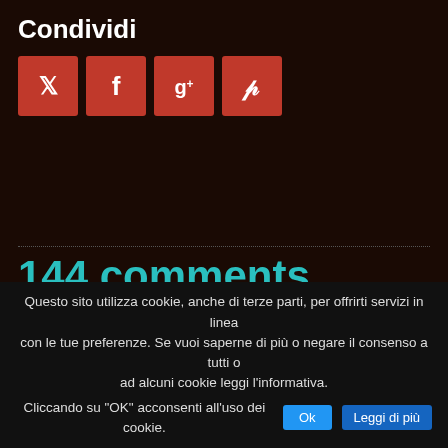Condividi
[Figure (infographic): Four red social media share buttons: Twitter (bird icon), Facebook (f icon), Google+ (g+ icon), Pinterest (p icon)]
144 comments
compilation of the sexiest tik tok girls
7 febbraio 2022 at 11:35
Questo sito utilizza cookie, anche di terze parti, per offrirti servizi in linea con le tue preferenze. Se vuoi saperne di più o negare il consenso a tutti o ad alcuni cookie leggi l'informativa.
Cliccando su "OK" acconsenti all'uso dei cookie.